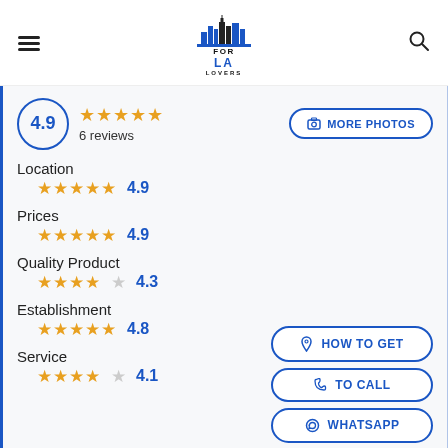FOR LA LOVERS (logo header with hamburger menu and search icon)
4.9  ★★★★★  6 reviews
📷 MORE PHOTOS
Location
★★★★★  4.9
Prices
★★★★★  4.9
Quality Product
★★★★☆  4.3
Establishment
★★★★★  4.8
Service
★★★★☆  4.1
📍 HOW TO GET
📞 TO CALL
💬 WHATSAPP